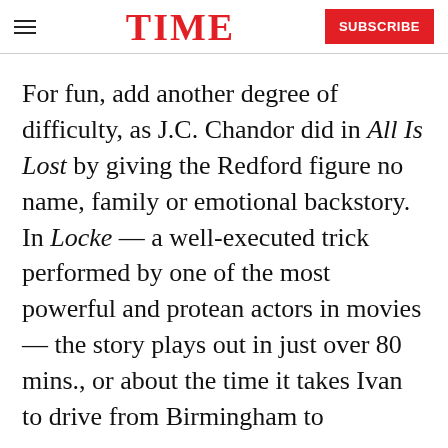TIME | SUBSCRIBE
For fun, add another degree of difficulty, as J.C. Chandor did in All Is Lost by giving the Redford figure no name, family or emotional backstory. In Locke — a well-executed trick performed by one of the most powerful and protean actors in movies — the story plays out in just over 80 mins., or about the time it takes Ivan to drive from Birmingham to
READ NEXT
[Figure (photo): Photo of a man in a suit, appears to be a director or public figure, standing in front of a wooden background]
X-Men Director Denies Sexual Abuse Allegations